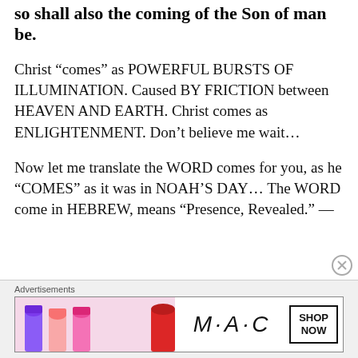so shall also the coming of the Son of man be.
Christ “comes” as POWERFUL BURSTS OF ILLUMINATION. Caused BY FRICTION between HEAVEN AND EARTH. Christ comes as ENLIGHTENMENT. Don’t believe me wait…
Now let me translate the WORD comes for you, as he “COMES” as it was in NOAH’S DAY… The WORD come in HEBREW, means “Presence, Revealed.” —
Advertisements
[Figure (photo): MAC cosmetics advertisement banner showing lipsticks and MAC logo with SHOP NOW button]